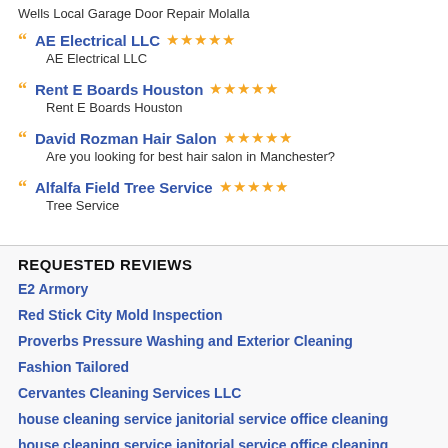Wells Local Garage Door Repair Molalla
AE Electrical LLC ★★★★★
AE Electrical LLC
Rent E Boards Houston ★★★★★
Rent E Boards Houston
David Rozman Hair Salon ★★★★★
Are you looking for best hair salon in Manchester?
Alfalfa Field Tree Service ★★★★★
Tree Service
REQUESTED REVIEWS
E2 Armory
Red Stick City Mold Inspection
Proverbs Pressure Washing and Exterior Cleaning
Fashion Tailored
Cervantes Cleaning Services LLC
house cleaning service janitorial service office cleaning
house cleaning service janitorial service office cleaning